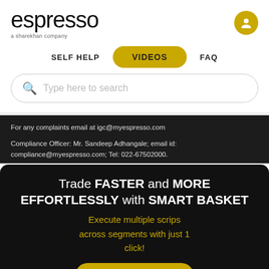espresso
a sharekhan company
SELF HELP | VIDEOS | FAQ
Type here to search
For any complaints email at igc@myespresso.com
Compliance Officer: Mr. Sandeep Adhangale; email id: compliance@myespresso.com; Tel: 022-67502000.
Trade FASTER and MORE EFFORTLESSLY with SMART BASKET
Execute multiple scrips across segments with just 1 click!
KNOW MORE